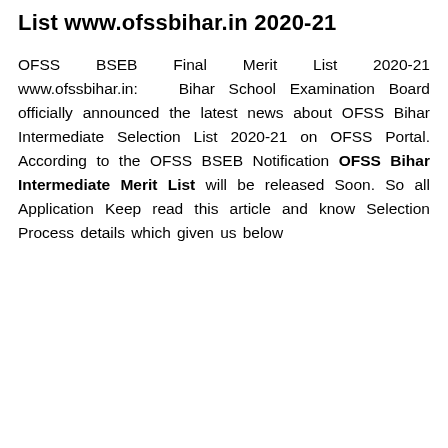List www.ofssbihar.in 2020-21
OFSS BSEB Final Merit List 2020-21 www.ofssbihar.in: Bihar School Examination Board officially announced the latest news about OFSS Bihar Intermediate Selection List 2020-21 on OFSS Portal. According to the OFSS BSEB Notification OFSS Bihar Intermediate Merit List will be released Soon. So all Application Keep read this article and know Selection Process details which given us below